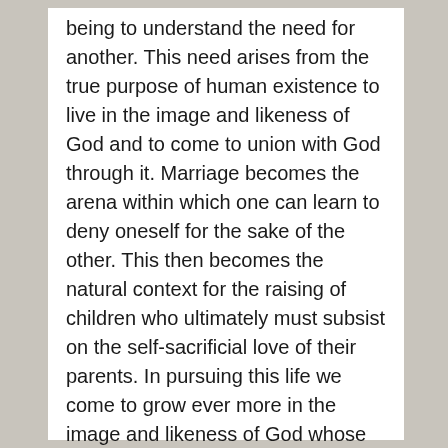being to understand the need for another. This need arises from the true purpose of human existence to live in the image and likeness of God and to come to union with God through it. Marriage becomes the arena within which one can learn to deny oneself for the sake of the other. This then becomes the natural context for the raising of children who ultimately must subsist on the self-sacrificial love of their parents. In pursuing this life we come to grow ever more in the image and likeness of God whose defining trait is love as told to us by St. John the Evangelist. This selfless life turns upside down because of the entry of sin. The experience of our gendered existence now typically manifests itself as a desire to satisfy our own passions and desires despite what we have seen in the Scriptures as the true purpose of human unity and sexuality. Let us look to Genesis and see how